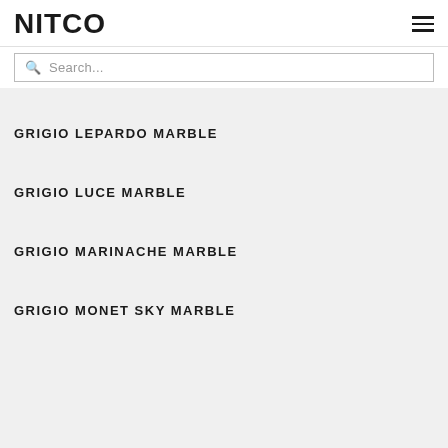NITCO
Search...
GRIGIO LEPARDO MARBLE
GRIGIO LUCE MARBLE
GRIGIO MARINACHE MARBLE
GRIGIO MONET SKY MARBLE